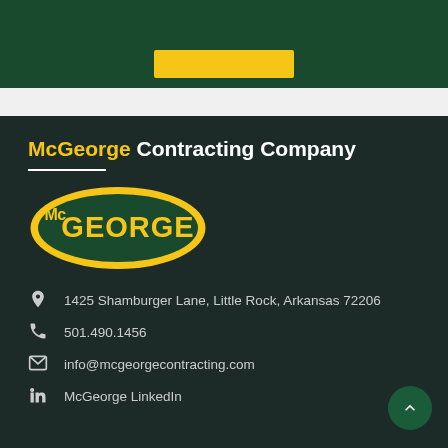[Figure (logo): McGeorge Contracting Company logo – yellow oval with dark green MCGEORGE text inside]
McGeorge Contracting Company
1425 Shamburger Lane, Little Rock, Arkansas 72206
501.490.1456
info@mcgeorgecontracting.com
McGeorge LinkedIn